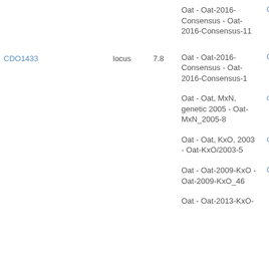| Marker | Type | Value | Map - Locus | Link |
| --- | --- | --- | --- | --- |
| CDO1433 | locus | 7.8 | Oat - Oat-2016-Consensus - Oat-2016-Consensus-11 | CDO1433 |
|  |  |  | Oat - Oat-2016-Consensus - Oat-2016-Consensus-1 | CDO1433 |
|  |  |  | Oat - Oat, MxN, genetic 2005 - Oat-MxN_2005-8 | cdo1433 |
|  |  |  | Oat - Oat, KxO, 2003 - Oat-KxO/2003-5 | cdo1433 |
|  |  |  | Oat - Oat-2009-KxO - Oat-2009-KxO_46 | CDO1433 |
|  |  |  | Oat - Oat-2013-KxO- | ... |